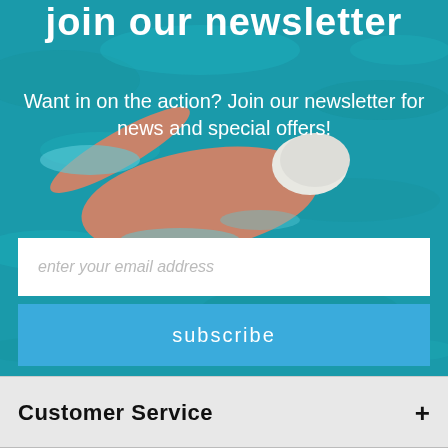join our newsletter
Want in on the action? Join our newsletter for news and special offers!
[Figure (photo): Background photo of a swimmer in a blue pool, viewed from above, wearing a white swim cap]
enter your email address
subscribe
Customer Service